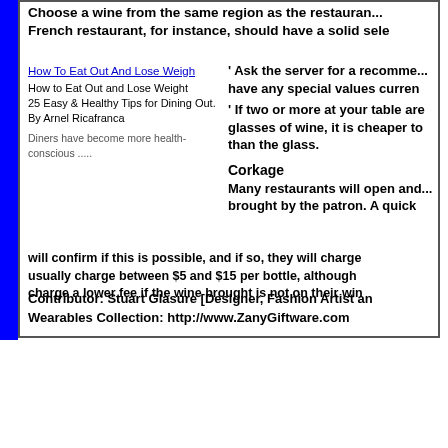Choose a wine from the same region as the restaurant... French restaurant, for instance, should have a solid sele
How To Eat Out And Lose Weigh
How to Eat Out and Lose Weight
25 Easy & Healthy Tips for Dining Out.
By Arnel Ricafranca
Diners have become more health-conscious .....
' Ask the server for a recomme... have any special values curren
' If two or more at your table are... glasses of wine, it is cheaper to... than the glass.
Corkage
Many restaurants will open and... brought by the patron. A quick
will confirm if this is possible, and if so, they will charge... usually charge between $5 and $15 per bottle, although... charge a lower fee if the wine brought is not on their win
Contributor: Stuart Glasure [Designer, Fashion Artist an... Wearables Collection: http://www.ZanyGiftware.com